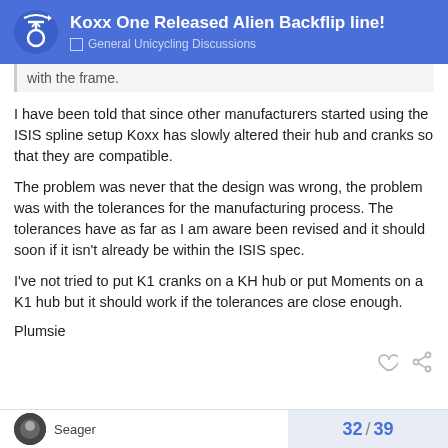Koxx One Released Alien Backflip line! — General Unicycling Discussions
with the frame.
I have been told that since other manufacturers started using the ISIS spline setup Koxx has slowly altered their hub and cranks so that they are compatible.
The problem was never that the design was wrong, the problem was with the tolerances for the manufacturing process. The tolerances have as far as I am aware been revised and it should soon if it isn't already be within the ISIS spec.
I've not tried to put K1 cranks on a KH hub or put Moments on a K1 hub but it should work if the tolerances are close enough.
Plumsie
32 / 39   Seager